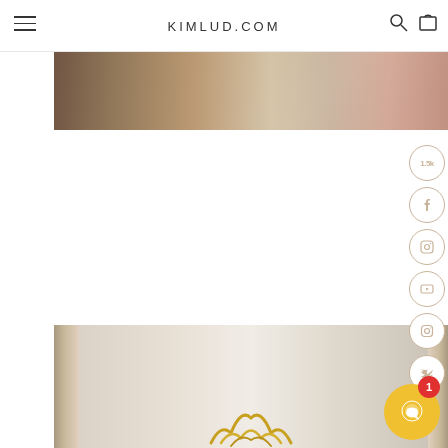KIMLUD.COM
[Figure (photo): Top portion of a fashion/clothing product photo showing a pink satin lingerie piece against a decorative background]
[Figure (photo): Bottom portion showing a gold ornamental decorative piece against a light beige paneled wall background]
[Figure (infographic): Social media sidebar with circular icon buttons: 1.5k share count, Facebook, Pinterest, YouTube, Instagram, Twitter]